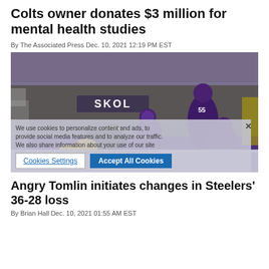Colts owner donates $3 million for mental health studies
By The Associated Press Dec. 10, 2021 12:19 PM EST
[Figure (photo): NFL football game action photo showing a Pittsburgh Steelers player diving to catch a ball in the end zone while multiple Minnesota Vikings players in purple uniforms attempt to defend. Stadium crowd visible in background. Cookie consent overlay visible on bottom portion of image.]
Angry Tomlin initiates changes in Steelers' 36-28 loss
By Brian Hall Dec. 10, 2021 01:55 AM EST